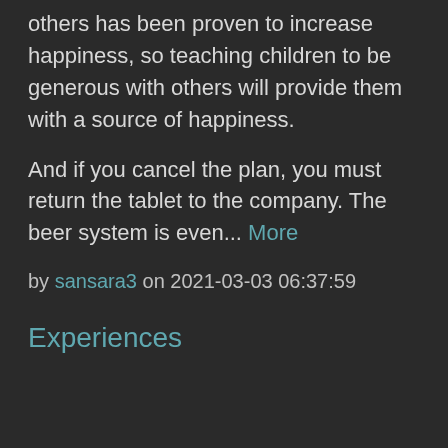others has been proven to increase happiness, so teaching children to be generous with others will provide them with a source of happiness.
And if you cancel the plan, you must return the tablet to the company. The beer system is even... More
by sansara3 on 2021-03-03 06:37:59
Experiences